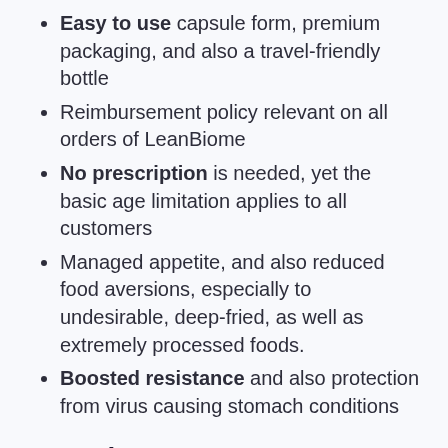Easy to use capsule form, premium packaging, and also a travel-friendly bottle
Reimbursement policy relevant on all orders of LeanBiome
No prescription is needed, yet the basic age limitation applies to all customers
Managed appetite, and also reduced food aversions, especially to undesirable, deep-fried, as well as extremely processed foods.
Boosted resistance and also protection from virus causing stomach conditions
LeanBiome Cons
Limited accessibility, as well as the only means to purchase is via the official web site.
Not available at pharmacies, superstores, and